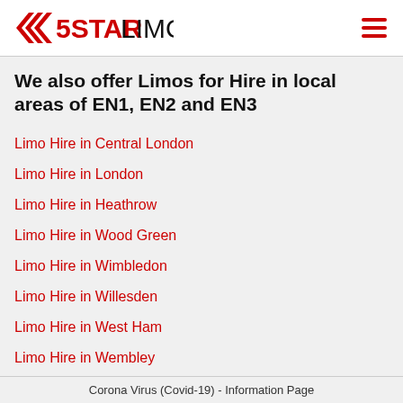5STARLIMOS
We also offer Limos for Hire in local areas of EN1, EN2 and EN3
Limo Hire in Central London
Limo Hire in London
Limo Hire in Heathrow
Limo Hire in Wood Green
Limo Hire in Wimbledon
Limo Hire in Willesden
Limo Hire in West Ham
Limo Hire in Wembley
Corona Virus (Covid-19) - Information Page